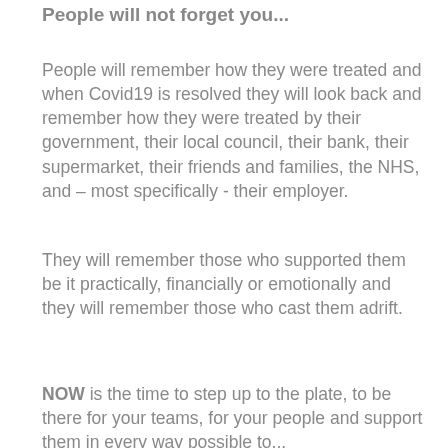People will not forget you...
People will remember how they were treated and when Covid19 is resolved they will look back and remember how they were treated by their government, their local council, their bank, their supermarket, their friends and families, the NHS, and – most specifically - their employer.
They will remember those who supported them be it practically, financially or emotionally and they will remember those who cast them adrift.
NOW is the time to step up to the plate, to be there for your teams, for your people and support them in every way possible to...